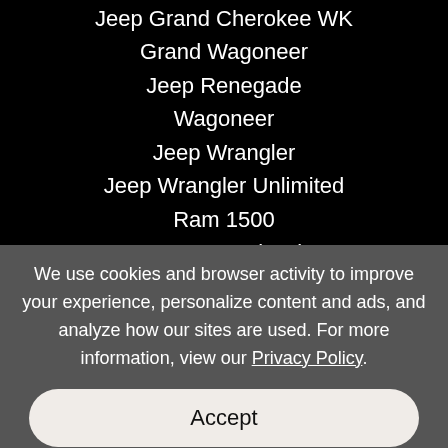Jeep Grand Cherokee WK
Grand Wagoneer
Jeep Renegade
Wagoneer
Jeep Wrangler
Jeep Wrangler Unlimited
Ram 1500
Ram 1500 Classic
Ram 2500
Ram 3500
We use cookies and browser activity to improve your experience, personalize content and ads, and analyze how our sites are used. For more information, view our Privacy Policy.
Accept